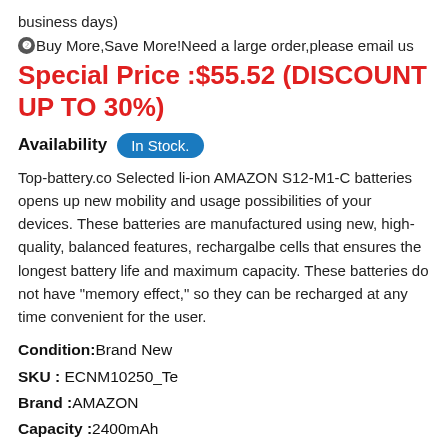business days)
❷Buy More,Save More!Need a large order,please email us
Special Price :$55.52 (DISCOUNT UP TO 30%)
Availability  In Stock.
Top-battery.co Selected li-ion AMAZON S12-M1-C batteries opens up new mobility and usage possibilities of your devices. These batteries are manufactured using new, high-quality, balanced features, rechargalbe cells that ensures the longest battery life and maximum capacity. These batteries do not have "memory effect," so they can be recharged at any time convenient for the user.
Condition:Brand New
SKU : ECNM10250_Te
Brand :AMAZON
Capacity :2400mAh
Voltage :3.8V
Cell Type :li-ion